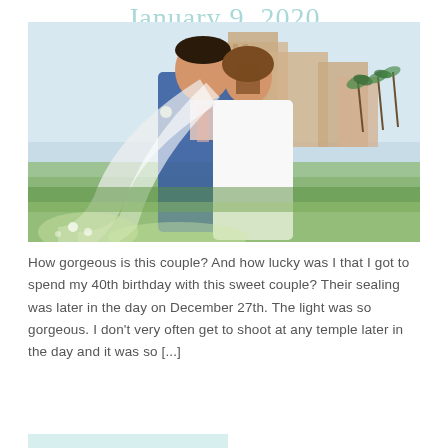January 9, 2020
[Figure (photo): Wedding couple kissing outdoors near a temple building with palm trees in background. Groom wearing blue suit, bride in white dress with veil flowing.]
How gorgeous is this couple? And how lucky was I that I got to spend my 40th birthday with this sweet couple? Their sealing was later in the day on December 27th. The light was so gorgeous. I don't very often get to shoot at any temple later in the day and it was so [...]